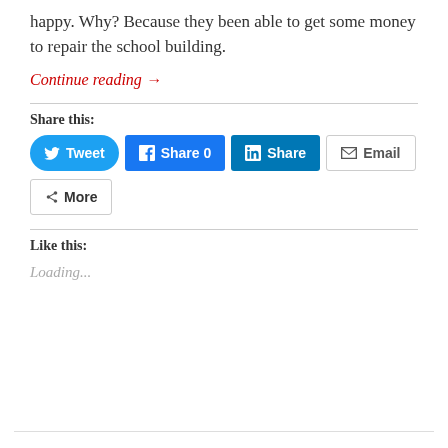happy. Why? Because they been able to get some money to repair the school building.
Continue reading →
Share this:
[Figure (screenshot): Social sharing buttons: Tweet (Twitter), Share 0 (Facebook), Share (LinkedIn), Email, More]
Like this:
Loading...